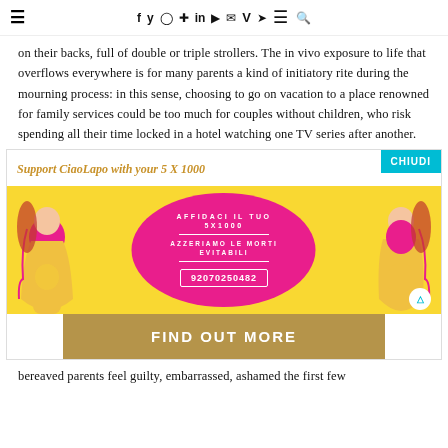≡  f  y  ⊙  ℗  in  ▶  ✉  V  ➤  ≡  🔍
on their backs, full of double or triple strollers. The in vivo exposure to life that overflows everywhere is for many parents a kind of initiatory rite during the mourning process: in this sense, choosing to go on vacation to a place renowned for family services could be too much for couples without children, who risk spending all their time locked in a hotel watching one TV series after another.
[Figure (infographic): CiaoLapo donation banner with text 'Support CiaoLapo with your 5 X 1000', CHIUDI button, illustration of pregnant women on yellow background with pink blob, Italian text 'AFFIDACI IL TUO 5X1000', 'AZZERIAMO LE MORTI EVITABILI', number '92070250482', and a 'FIND OUT MORE' gold button.]
bereaved parents feel guilty, embarrassed, ashamed the first few